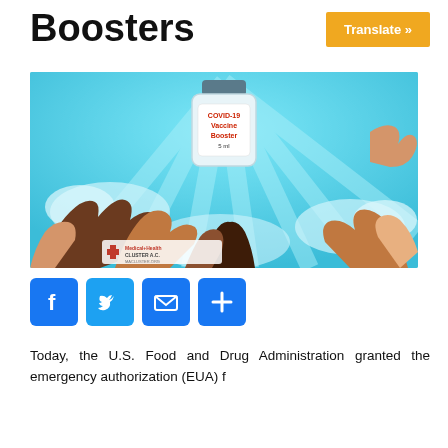Boosters
Translate »
[Figure (illustration): Illustration of diverse hands reaching up toward a COVID-19 Vaccine Booster vial against a light blue sky background, with Medical+Health Cluster A.C. logo in lower left.]
[Figure (infographic): Social share icons: Facebook, Twitter, Email, Share (plus sign), all in blue square rounded buttons.]
Today, the U.S. Food and Drug Administration granted the emergency authorization (EUA) f